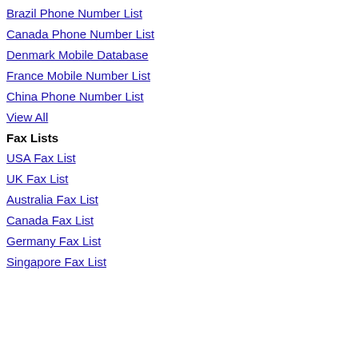Brazil Phone Number List
Canada Phone Number List
Denmark Mobile Database
France Mobile Number List
China Phone Number List
View All
Fax Lists
USA Fax List
UK Fax List
Australia Fax List
Canada Fax List
Germany Fax List
Singapore Fax List